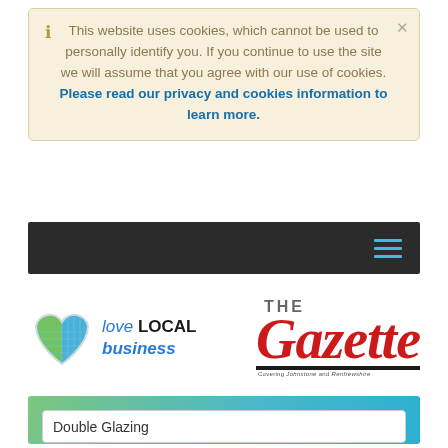This website uses cookies, which cannot be used to personally identify you. If you continue to use the site we will assume that you agree with our use of cookies. Please read our privacy and cookies information to learn more.
[Figure (logo): Navigation bar with dark background and hamburger menu icon in blue]
[Figure (logo): Love LOCAL business logo with heart icon and The Gazette newspaper logo in red italic]
[Figure (screenshot): Search area with gradient green-to-blue background containing a search field showing 'Double Glazing', a location field with placeholder 'UK, town or postcode', and a Search button]